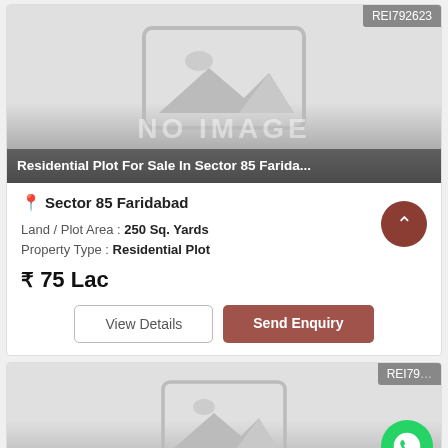[Figure (photo): No image placeholder for residential plot listing with gray gradient background and image icon]
Residential Plot For Sale In Sector 85 Farida...
REI792623
Sector 85 Faridabad
Land / Plot Area : 250 Sq. Yards
Property Type : Residential Plot
₹ 75 Lac
View Details
Send Enquiry
[Figure (photo): Second listing card partially visible with no image placeholder, REI7... badge, and WhatsApp button]